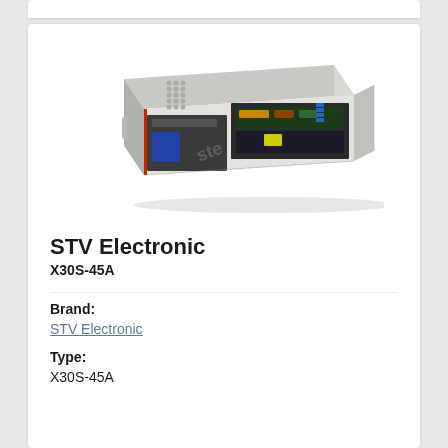[Figure (photo): Photo of STV Electronic X30S-45A electronic power supply unit — a rectangular metal chassis/enclosure open at front showing circuit boards, transformer, and electronic components inside]
STV Electronic
X30S-45A
Brand:
STV Electronic
Type:
X30S-45A